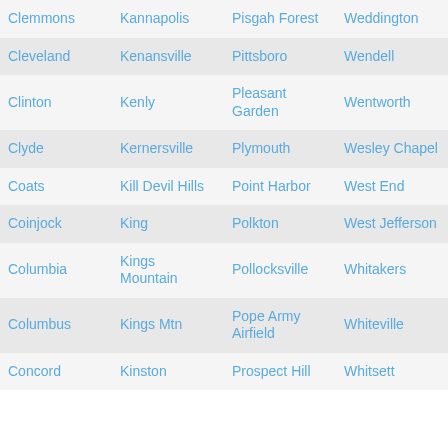| Clemmons | Kannapolis | Pisgah Forest | Weddington |
| Cleveland | Kenansville | Pittsboro | Wendell |
| Clinton | Kenly | Pleasant Garden | Wentworth |
| Clyde | Kernersville | Plymouth | Wesley Chapel |
| Coats | Kill Devil Hills | Point Harbor | West End |
| Coinjock | King | Polkton | West Jefferson |
| Columbia | Kings Mountain | Pollocksville | Whitakers |
| Columbus | Kings Mtn | Pope Army Airfield | Whiteville |
| Concord | Kinston | Prospect Hill | Whitsett |